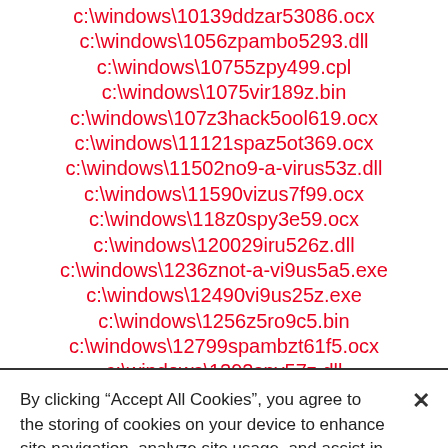c:\windows\10139ddzar53086.ocx
c:\windows\1056zpambo5293.dll
c:\windows\10755zpy499.cpl
c:\windows\1075vir189z.bin
c:\windows\107z3hack5ool619.ocx
c:\windows\11121spaz5ot369.ocx
c:\windows\11502no9-a-virus53z.dll
c:\windows\11590vizus7f99.ocx
c:\windows\118z0spy3e59.ocx
c:\windows\120029iru526z.dll
c:\windows\1236znot-a-vi9us5a5.exe
c:\windows\12490vi9us25z.exe
c:\windows\1256z5ro9c5.bin
c:\windows\12799spambzt61f5.ocx
c:\windows\1292spy57z.dll
By clicking “Accept All Cookies”, you agree to the storing of cookies on your device to enhance site navigation, analyze site usage, and assist in our marketing efforts.
Cookies Settings
Accept All Cookies